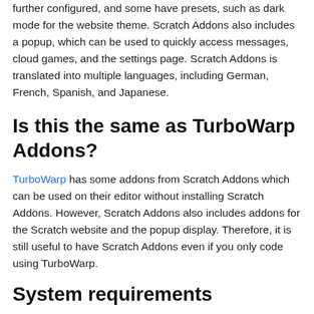further configured, and some have presets, such as dark mode for the website theme. Scratch Addons also includes a popup, which can be used to quickly access messages, cloud games, and the settings page. Scratch Addons is translated into multiple languages, including German, French, Spanish, and Japanese.
Is this the same as TurboWarp Addons?
TurboWarp has some addons from Scratch Addons which can be used on their editor without installing Scratch Addons. However, Scratch Addons also includes addons for the Scratch website and the popup display. Therefore, it is still useful to have Scratch Addons even if you only code using TurboWarp.
System requirements